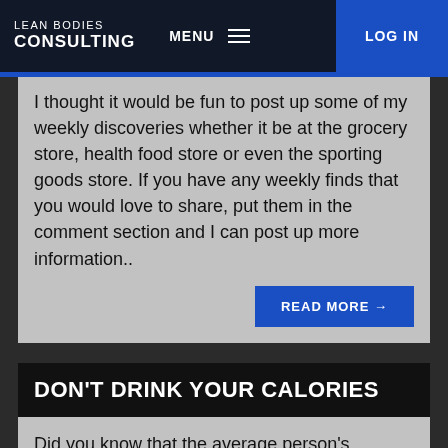LEAN BODIES CONSULTING | MENU | LOG IN
I thought it would be fun to post up some of my weekly discoveries whether it be at the grocery store, health food store or even the sporting goods store. If you have any weekly finds that you would love to share, put them in the comment section and I can post up more information..
READ MORE →
DON'T DRINK YOUR CALORIES
Did you know that the average person's beverage daily consumption equals about 20% of their total caloric intake? I don't know about you, but drinks just don't cut it for me. Outside